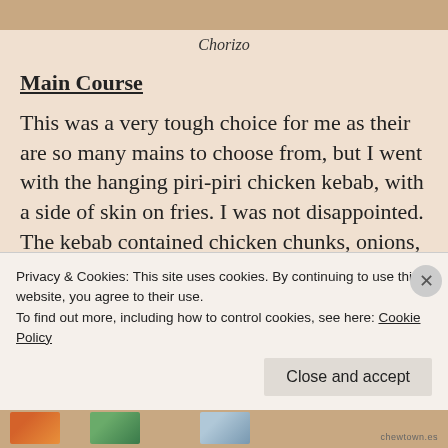[Figure (photo): Top cropped image strip showing food (Chorizo)]
Chorizo
Main Course
This was a very tough choice for me as their are so many mains to choose from, but I went with the hanging piri-piri chicken kebab, with a side of skin on fries. I was not disappointed. The kebab contained chicken chunks, onions, courgette and peppers all skewered together and char-grilled served on a bed of salad. It was
Privacy & Cookies: This site uses cookies. By continuing to use this website, you agree to their use.
To find out more, including how to control cookies, see here: Cookie Policy
[Figure (photo): Bottom strip with thumbnail images of food]